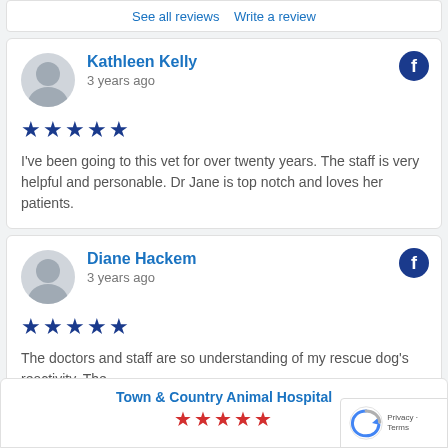See all reviews  Write a review
Kathleen Kelly
3 years ago
I've been going to this vet for over twenty years. The staff is very helpful and personable. Dr Jane is top notch and loves her patients.
Diane Hackem
3 years ago
The doctors and staff are so understanding of my rescue dog's reactivity. The
Town & Country Animal Hospital